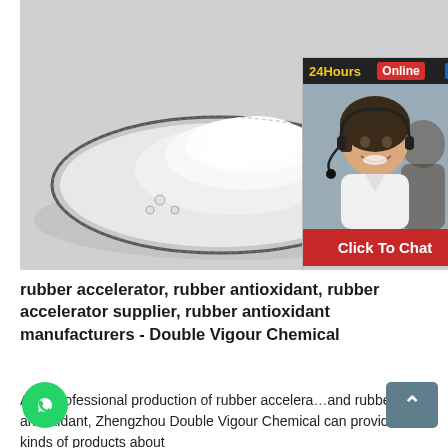[Figure (photo): White powder in a glass petri dish on a light grey background, product photo for rubber accelerator/antioxidant chemical. Overlaid with a customer service chat popup showing '24Hours Online' header, a smiling female customer service representative with a headset, and a red 'Click To Chat' button.]
rubber accelerator, rubber antioxidant, rubber accelerator supplier, rubber antioxidant manufacturers - Double Vigour Chemical
As a professional production of rubber accelerator and rubber antioxidant, Zhengzhou Double Vigour Chemical can provide all kinds of products about